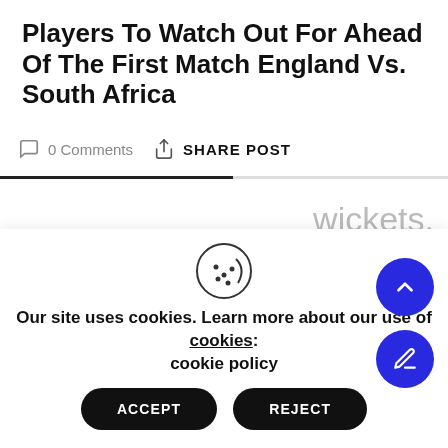Players To Watch Out For Ahead Of The First Match England Vs. South Africa
0 Comments   SHARE POST
wickets.
4.Moeen Ali-
A
Our site uses cookies. Learn more about our use of cookies: cookie policy